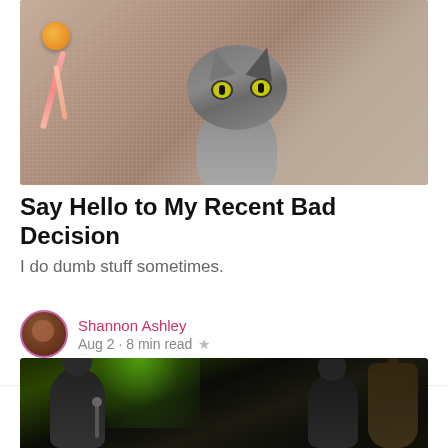[Figure (photo): Gray kitten looking up at the camera on a beige carpet, with an orange yarn ball and pink feathered toy in the background]
Say Hello to My Recent Bad Decision
I do dumb stuff sometimes.
Shannon Ashley
Aug 2 · 8 min read ★
[Figure (photo): Two male performers singing into microphones on a dark stage with green lighting, a guitar visible on the right]